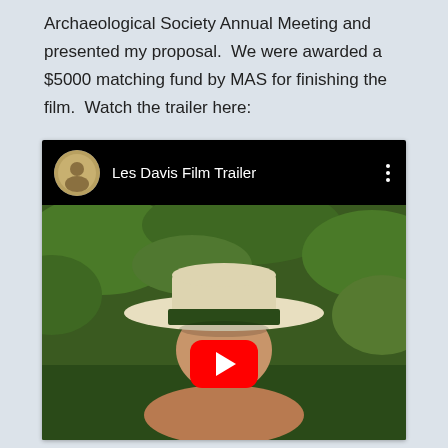Archaeological Society Annual Meeting and presented my proposal.  We were awarded a $5000 matching fund by MAS for finishing the film.  Watch the trailer here:
[Figure (screenshot): Embedded YouTube video player showing 'Les Davis Film Trailer'. The top bar is black with a circular avatar/logo on the left, the title 'Les Davis Film Trailer' in white text, and a three-dot menu icon on the right. The thumbnail shows a man wearing a wide-brimmed light-colored hat with a dark band, smiling, with a green field in the background. A red YouTube play button is centered over the lower portion of the thumbnail.]